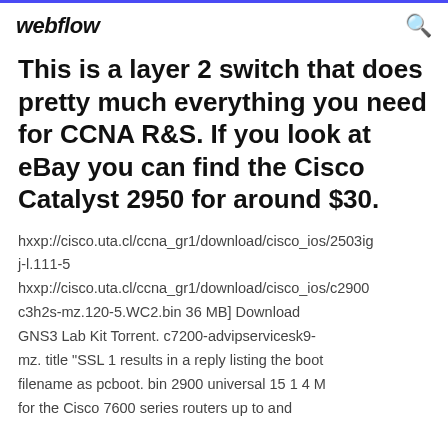webflow
This is a layer 2 switch that does pretty much everything you need for CCNA R&S. If you look at eBay you can find the Cisco Catalyst 2950 for around $30.
hxxp://cisco.uta.cl/ccna_gr1/download/cisco_ios/2503ig j-l.111-5 hxxp://cisco.uta.cl/ccna_gr1/download/cisco_ios/c2900 c3h2s-mz.120-5.WC2.bin 36 MB] Download GNS3 Lab Kit Torrent. c7200-advipservicesk9-mz. title "SSL 1 results in a reply listing the boot filename as pcboot. bin 2900 universal 15 1 4 M for the Cisco 7600 series routers up to and